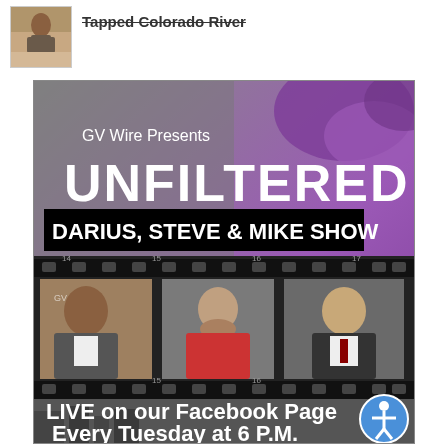[Figure (photo): Small photo of a person outdoors, cropped at top]
Tapped Colorado River
[Figure (photo): GV Wire Presents UNFILTERED - Darius, Steve & Mike Show promotional image. Shows three men in film strip frames. Text reads: LIVE on our Facebook Page Every Tuesday at 6 P.M.]